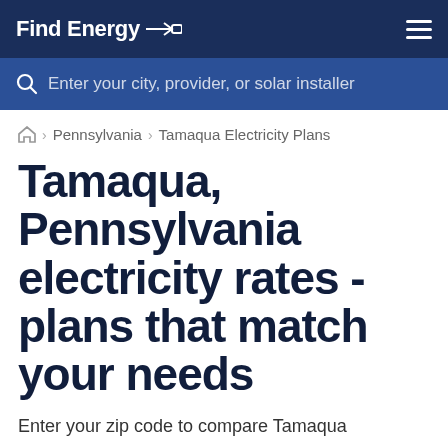Find Energy
Enter your city, provider, or solar installer
🏠 › Pennsylvania › Tamaqua Electricity Plans
Tamaqua, Pennsylvania electricity rates - plans that match your needs
Enter your zip code to compare Tamaqua